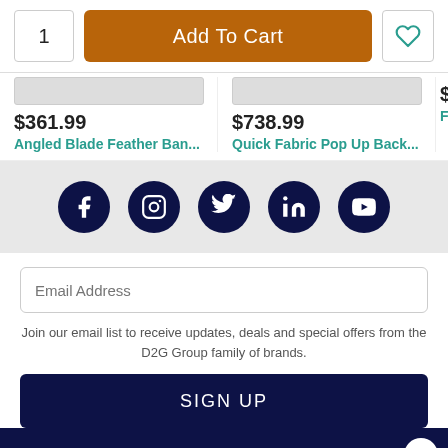1
Add To Cart
$361.99
Angled Blade Feather Ban...
$738.99
Quick Fabric Pop Up Back...
$
Feath
[Figure (infographic): Social media icons: Facebook, Instagram, Twitter, LinkedIn, YouTube — white icons on dark navy circular backgrounds]
Email Address
Join our email list to receive updates, deals and special offers from the D2G Group family of brands.
SIGN UP
This website stores data such as cookies to enable essential site functionality, as well as marketing, personalization, and analytics. By remaining on this website you indicate your consent. Data Storage Policy